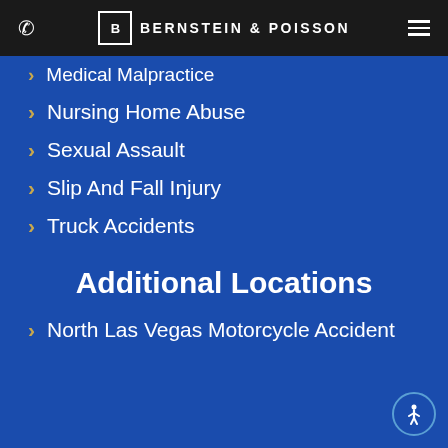Bernstein & Poisson
Medical Malpractice
Nursing Home Abuse
Sexual Assault
Slip And Fall Injury
Truck Accidents
Additional Locations
North Las Vegas Motorcycle Accident